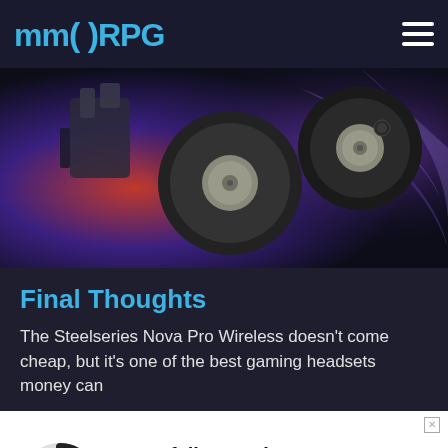MMORPG
[Figure (photo): Close-up photo of SteelSeries Nova Pro Wireless gaming headset ear cups resting on colorful gaming artwork with red, blue, and purple design elements]
Final Thoughts
The Steelseries Nova Pro Wireless doesn't come cheap, but it's one of the best gaming headsets money can
[Figure (other): Circular loading spinner graphic (dark arc on light grey circle)]
Crowfall Launches, Rogue Company Switchblade, LoL Akshan, & More!